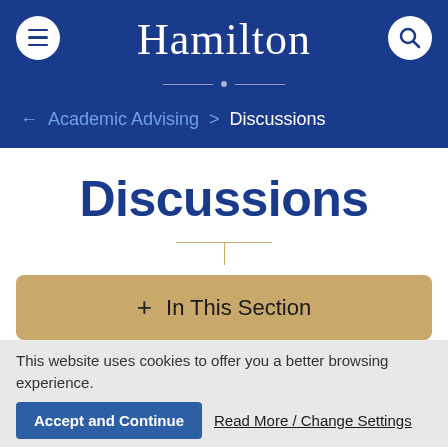Hamilton
Academic Advising > Discussions
Discussions
+ In This Section
This website uses cookies to offer you a better browsing experience.
Accept and Continue   Read More / Change Settings
Advising and interactive skills